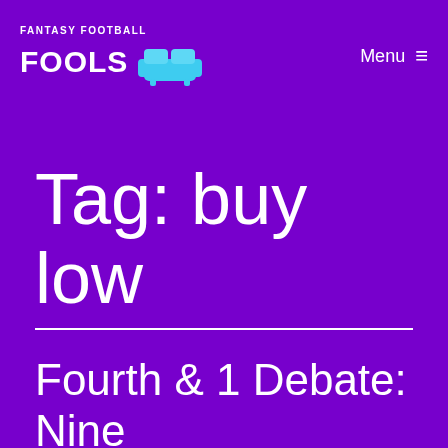Fantasy Football Fools — Menu
Tag: buy low
Fourth & 1 Debate: Nine M… M… for th…